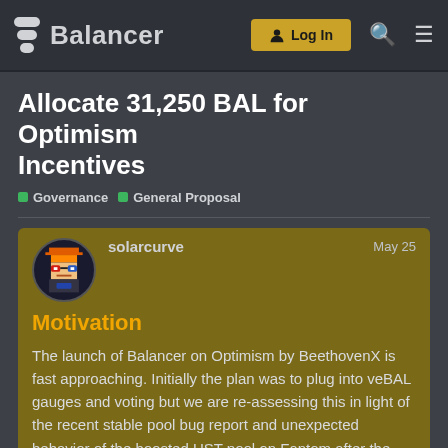Balancer | Log In
Allocate 31,250 BAL for Optimism Incentives
Governance  General Proposal
solarcurve  May 25
Motivation
The launch of Balancer on Optimism by BeethovenX is fast approaching. Initially the plan was to plug into veBAL gauges and voting but we are re-assessing this in light of the recent stable pool bug report and unexpected behavior of the boosted UST pool on Fantom after the depeg. Rather than add non-boosted Optimism pools to veBAL voting then later add boosted pools it is preferable to wait on veBAL inte… boosted pools are ready. This allows Balan…
1 / 9